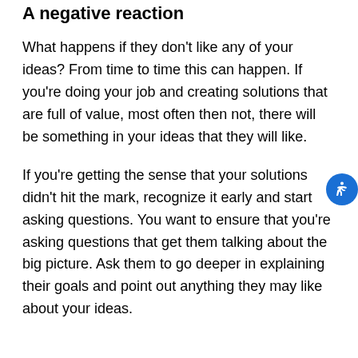A negative reaction
What happens if they don't like any of your ideas? From time to time this can happen. If you're doing your job and creating solutions that are full of value, most often then not, there will be something in your ideas that they will like.
If you're getting the sense that your solutions didn't hit the mark, recognize it early and start asking questions. You want to ensure that you're asking questions that get them talking about the big picture. Ask them to go deeper in explaining their goals and point out anything they may like about your ideas.